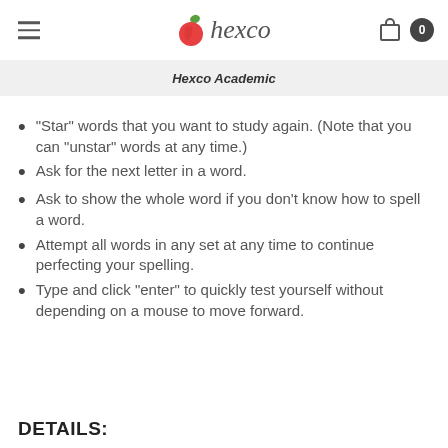hexco
Hexco Academic
"Star" words that you want to study again. (Note that you can "unstar" words at any time.)
Ask for the next letter in a word.
Ask to show the whole word if you don't know how to spell a word.
Attempt all words in any set at any time to continue perfecting your spelling.
Type and click "enter" to quickly test yourself without depending on a mouse to move forward.
DETAILS: